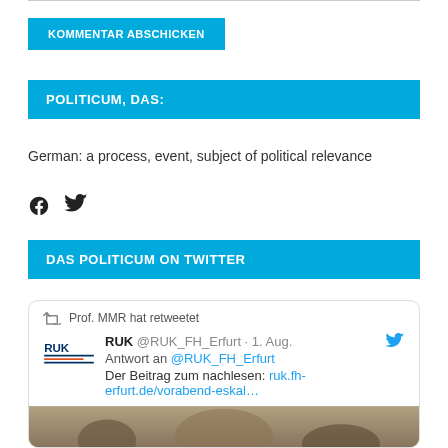KOMMENTAR ABSCHICKEN
POLITICUM, DAS:
German: a process, event, subject of political relevance
[Figure (other): Facebook and Twitter social share icons]
DAS POLITICUM ON TWITTER
Prof. MMR hat retweetet
RUK @RUK_FH_Erfurt · 1. Aug.
Antwort an @RUK_FH_Erfurt
Der Beitrag zum nachlesen: ruk.fh-erfurt.de/vorabend-eskal…
[Figure (photo): Sepia/grayscale photograph inside tweet card]